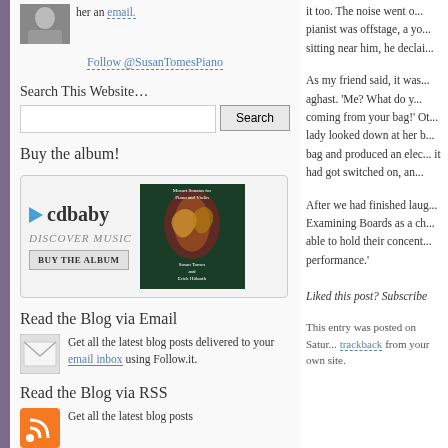her an email.
Follow @SusanTomesPiano
Search This Website…
Buy the album!
[Figure (other): CDBaby album purchase widget with album cover for Mozart Sonatas for Piano and Violin by Susan Tomes and Erich Höbarth]
Read the Blog via Email
Get all the latest blog posts delivered to your email inbox using Follow.it.
Read the Blog via RSS
Get all the latest blog posts
it too. The noise went on... pianist was offstage, a yo... sitting near him, he declai...
As my friend said, it was... aghast. 'Me? What do y... coming from your bag!' Ot... lady looked down at her b... bag and produced an elec... it had got switched on, an...
After we had finished laug... Examining Boards as a ch... able to hold their concent... performance.'
Liked this post? Subscribe
This entry was posted on Satur... trackback from your own site.